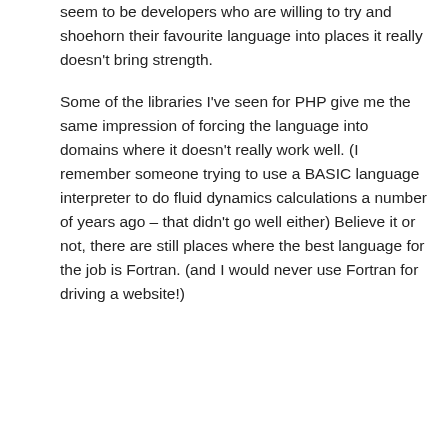seem to be developers who are willing to try and shoehorn their favourite language into places it really doesn't bring strength.
Some of the libraries I've seen for PHP give me the same impression of forcing the language into domains where it doesn't really work well. (I remember someone trying to use a BASIC language interpreter to do fluid dynamics calculations a number of years ago – that didn't go well either) Believe it or not, there are still places where the best language for the job is Fortran. (and I would never use Fortran for driving a website!)